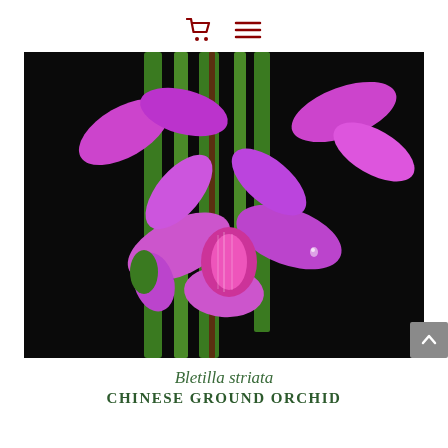shopping cart icon, menu icon
[Figure (photo): Close-up photograph of Bletilla striata (Chinese Ground Orchid) flowers — vivid pink-purple orchid blooms with ruffled labellum, against a solid black background, with green strap-like leaves visible behind the flowers.]
Bletilla striata
CHINESE GROUND ORCHID